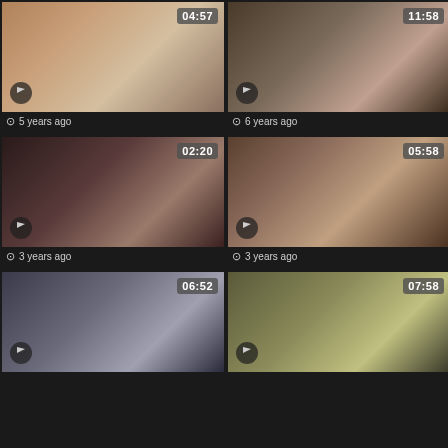[Figure (screenshot): Video thumbnail grid showing 6 video thumbnails in 2 columns with durations and ages]
5 years ago
6 years ago
3 years ago
3 years ago